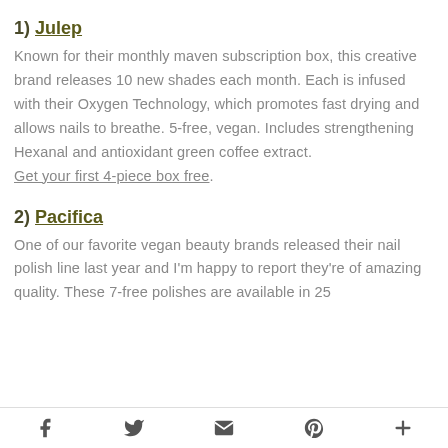1) Julep
Known for their monthly maven subscription box, this creative brand releases 10 new shades each month. Each is infused with their Oxygen Technology, which promotes fast drying and allows nails to breathe. 5-free, vegan. Includes strengthening Hexanal and antioxidant green coffee extract. Get your first 4-piece box free.
2) Pacifica
One of our favorite vegan beauty brands released their nail polish line last year and I'm happy to report they're of amazing quality. These 7-free polishes are available in 25